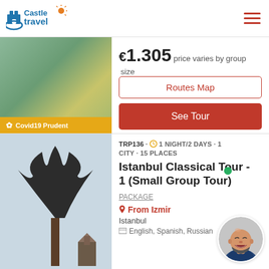Castle Travel
€1.305 price varies by group size
Routes Map
See Tour
Covid19 Prudent
TRP136 · 1 NIGHT/2 DAYS · 1 CITY · 15 PLACES
Istanbul Classical Tour - 1 (Small Group Tour)
PACKAGE
From Izmir
Istanbul
English, Spanish, Russian